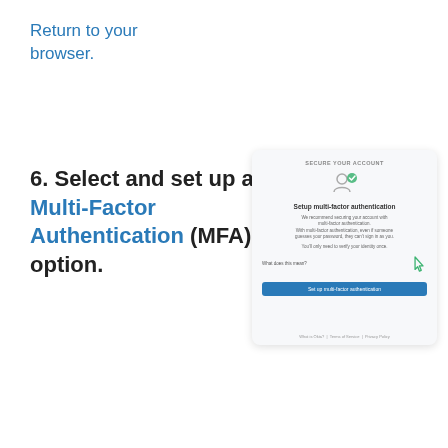Return to your browser.
6. Select and set up a Multi-Factor Authentication (MFA) option.
[Figure (screenshot): Screenshot of a 'Secure Your Account' dialog prompting the user to set up multi-factor authentication, with a blue 'Set up multi-factor authentication' button and a cursor icon pointing at it.]